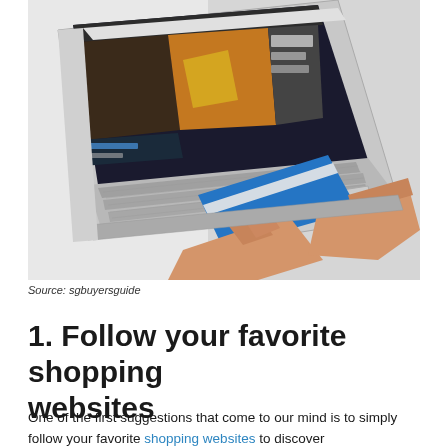[Figure (photo): Overhead view of a person's hands using a laptop with a shopping website open on screen, holding a blue credit card over the keyboard.]
Source: sgbuyersguide
1. Follow your favorite shopping websites
One of the first suggestions that come to our mind is to simply follow your favorite shopping websites to discover